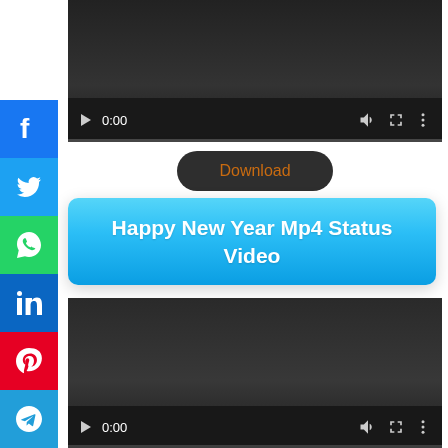[Figure (screenshot): Video player 1 with dark background, play button, 0:00 timestamp, volume, fullscreen, and more controls, with progress bar]
[Figure (screenshot): Download button with dark rounded rectangle background and orange text]
Happy New Year Mp4 Status Video
[Figure (screenshot): Second video player with dark background and 0:00 controls]
[Figure (infographic): Social media share sidebar with Facebook, Twitter, WhatsApp, LinkedIn, Pinterest, Telegram, and Share buttons]